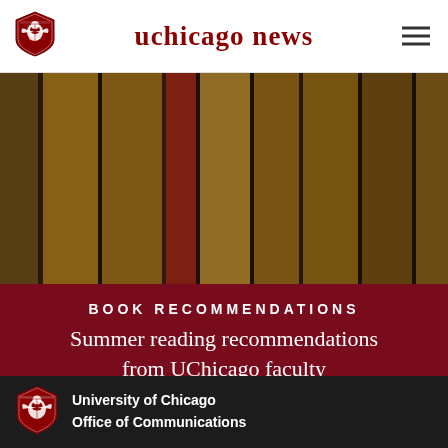uchicago news
[Figure (photo): Blurred close-up of book spines on a shelf, warm golden and brown tones]
BOOK RECOMMENDATIONS
Summer reading recommendations from UChicago faculty
University of Chicago Office of Communications